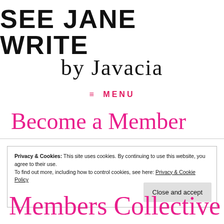[Figure (logo): See Jane Write by Javacia logo — bold sans-serif 'SEE JANE WRITE' above cursive 'by Javacia']
≡ MENU
Become a Member
Privacy & Cookies: This site uses cookies. By continuing to use this website, you agree to their use. To find out more, including how to control cookies, see here: Privacy & Cookie Policy
Close and accept
Members Collective